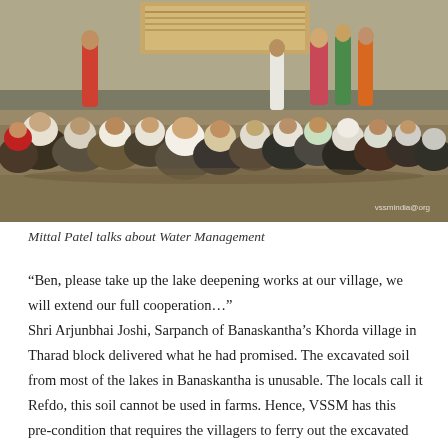[Figure (photo): Group of villagers seated on the ground in an outdoor meeting, facing a speaker. Women in colorful saris stand near a wall with a banner. Several men wearing white turbans are visible. Watermark: vssmindia@org]
Mittal Patel talks about Water Management
“Ben, please take up the lake deepening works at our village, we will extend our full cooperation…” Shri Arjunbhai Joshi, Sarpanch of Banaskantha’s Khorda village in Tharad block delivered what he had promised. The excavated soil from most of the lakes in Banaskantha is unusable. The locals call it Refdo, this soil cannot be used in farms. Hence, VSSM has this pre-condition that requires the villagers to ferry out the excavated soil and